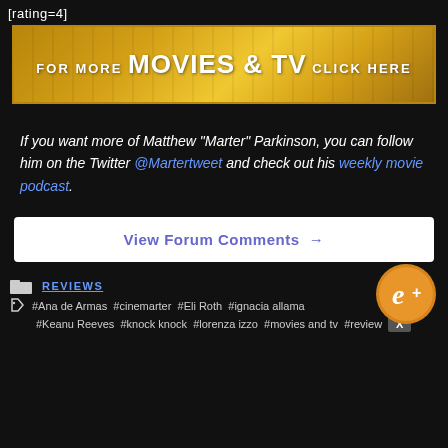[rating=4]
[Figure (infographic): Gold banner reading FOR MORE MOVIES & TV CLICK HERE]
If you want more of Matthew “Marter” Parkinson, you can follow him on the Twitter @Martertweet and check out his weekly movie podcast.
View Forum Comments →
REVIEWS
#Ana de Armas #cinemarter #Eli Roth #ignacia allama #Keanu Reeves #knock knock #lorenza izzo #movies and tv #review